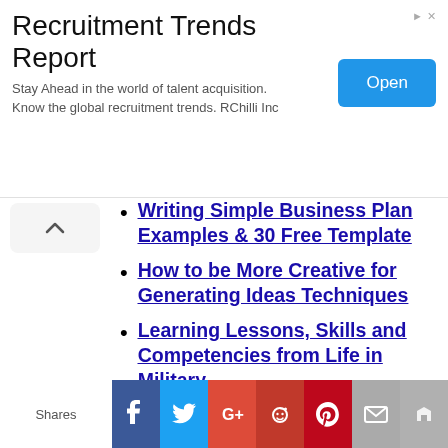[Figure (other): Advertisement banner for Recruitment Trends Report by RChilli Inc with an Open button]
Writing Simple Business Plan Examples & 30 Free Template
How to be More Creative for Generating Ideas Techniques
Learning Lessons, Skills and Competencies from Life in Military
Importance of Smile in the Workplace Communication Skills
CRNA meaning, Nurse
Shares | Facebook | Twitter | Google+ | Reddit | Pinterest | Email | Crown